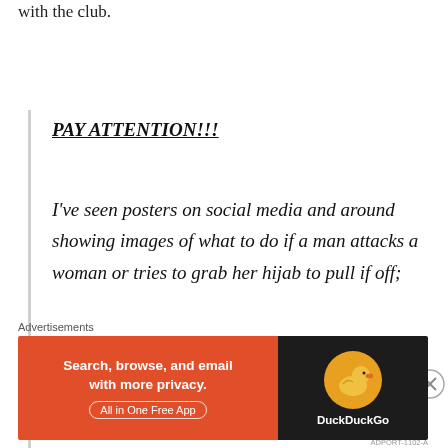with the club.
PAY ATTENTION!!!
I've seen posters on social media and around showing images of what to do if a man attacks a woman or tries to grab her hijab to pull if off;
A WOMAN WILL NOT BE ABLE TO DEFEND HERSELF BY JUST LOOKING AT
Advertisements
[Figure (screenshot): DuckDuckGo advertisement banner: orange left panel with text 'Search, browse, and email with more privacy. All in One Free App', dark right panel with DuckDuckGo duck logo and brand name.]